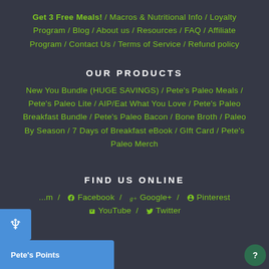Get 3 Free Meals!  /  Macros & Nutritional Info  /  Loyalty Program  /  Blog  /  About us  /  Resources  /  FAQ  /  Affiliate Program  /  Contact Us  /  Terms of Service  /  Refund policy
OUR PRODUCTS
New You Bundle (HUGE SAVINGS)  /  Pete's Paleo Meals  /  Pete's Paleo Lite  /  AIP/Eat What You Love  /  Pete's Paleo Breakfast Bundle  /  Pete's Paleo Bacon  /  Bone Broth  /  Paleo By Season  /  7 Days of Breakfast eBook  /  GIft Card  /  Pete's Paleo Merch
FIND US ONLINE
...m  /  Facebook  /  Google+  /  Pinterest  /  YouTube  /  Twitter